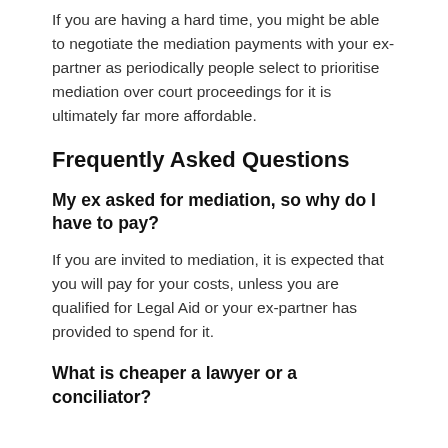If you are having a hard time, you might be able to negotiate the mediation payments with your ex-partner as periodically people select to prioritise mediation over court proceedings for it is ultimately far more affordable.
Frequently Asked Questions
My ex asked for mediation, so why do I have to pay?
If you are invited to mediation, it is expected that you will pay for your costs, unless you are qualified for Legal Aid or your ex-partner has provided to spend for it.
What is cheaper a lawyer or a conciliator?